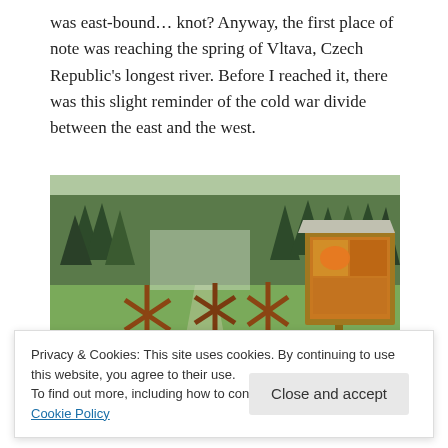was east-bound… knot? Anyway, the first place of note was reaching the spring of Vltava, Czech Republic's longest river. Before I reached it, there was this slight reminder of the cold war divide between the east and the west.
[Figure (photo): Outdoor forest clearing with metal anti-tank hedgehog obstacles in grassy field, dense conifer trees in background, wooden information board on right side. Cold War border remnants.]
Privacy & Cookies: This site uses cookies. By continuing to use this website, you agree to their use.
To find out more, including how to control cookies, see here: Our Cookie Policy
usual, somewhere in the mossy woods around